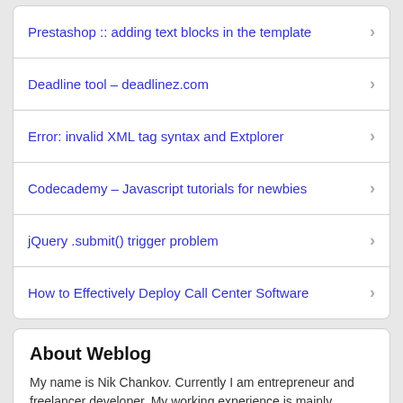Prestashop :: adding text blocks in the template
Deadline tool – deadlinez.com
Error: invalid XML tag syntax and Extplorer
Codecademy – Javascript tutorials for newbies
jQuery .submit() trigger problem
How to Effectively Deploy Call Center Software
About Weblog
My name is Nik Chankov. Currently I am entrepreneur and freelancer developer. My working experience is mainly related to Web technologies, so I could say that I am purely Web Developer. If you are interested for my work experience an my skills, take a look on my C.V. About this site This site was started [...]more →